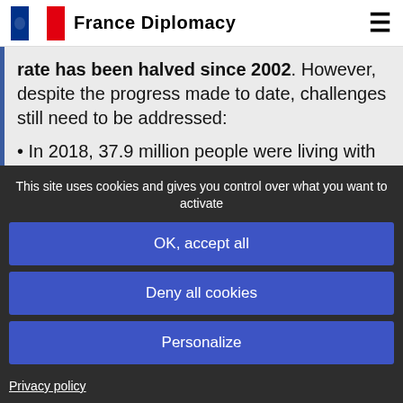France Diplomacy
rate has been halved since 2002. However, despite the progress made to date, challenges still need to be addressed:
In 2018, 37.9 million people were living with HIV, and the number of new cases
This site uses cookies and gives you control over what you want to activate
OK, accept all
Deny all cookies
Personalize
Privacy policy